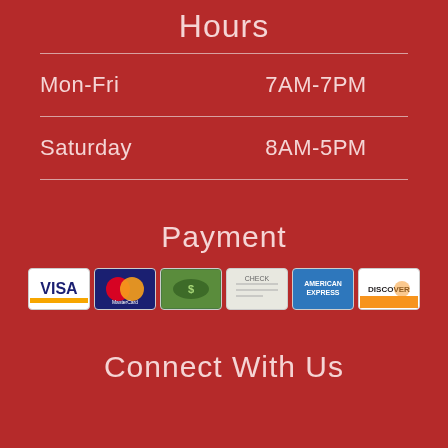Hours
| Day | Hours |
| --- | --- |
| Mon-Fri | 7AM-7PM |
| Saturday | 8AM-5PM |
Payment
[Figure (logo): Payment method icons: Visa, MasterCard, Cash, Check, American Express, Discover]
Connect With Us